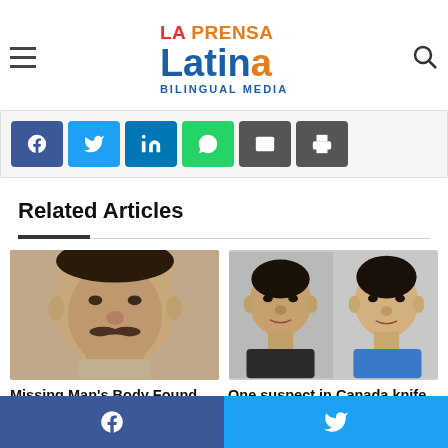La Prensa Latina Bilingual Media
[Figure (screenshot): Social share buttons: Facebook, Twitter, LinkedIn, WhatsApp, Email, Print]
Related Articles
[Figure (photo): Headshot of a man with mustache]
Missing Man's Body Found, Last Seen Fleeing Crash Scene
[Figure (photo): Two male suspects side by side, mugshot style]
One suspect in Canada knife murders of 10 people found dead
Facebook and Twitter share bar